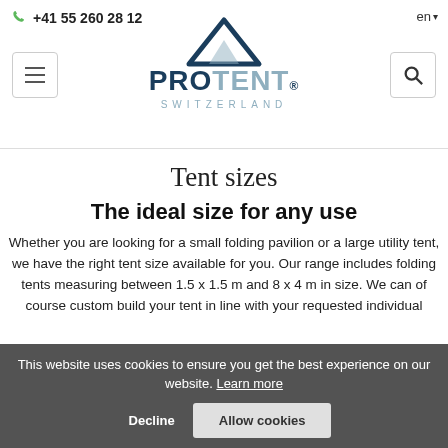+41 55 260 28 12  en
[Figure (logo): ProTent Switzerland logo with mountain peak icon above the text PROTENT and SWITZERLAND below]
Tent sizes
The ideal size for any use
Whether you are looking for a small folding pavilion or a large utility tent, we have the right tent size available for you. Our range includes folding tents measuring between 1.5 x 1.5 m and 8 x 4 m in size. We can of course custom build your tent in line with your requested individual
This website uses cookies to ensure you get the best experience on our website. Learn more
Decline  Allow cookies